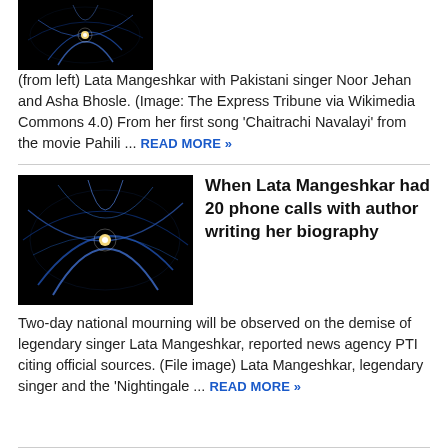[Figure (photo): Dark background with blue light streaks/swirls and a bright central point of light, abstract space-like image]
(from left) Lata Mangeshkar with Pakistani singer Noor Jehan and Asha Bhosle. (Image: The Express Tribune via Wikimedia Commons 4.0) From her first song 'Chaitrachi Navalayi' from the movie Pahili ... READ MORE »
[Figure (photo): Dark background with blue light streaks/swirls and a bright central point of light, abstract space-like image]
When Lata Mangeshkar had 20 phone calls with author writing her biography
Two-day national mourning will be observed on the demise of legendary singer Lata Mangeshkar, reported news agency PTI citing official sources. (File image) Lata Mangeshkar, legendary singer and the 'Nightingale ... READ MORE »